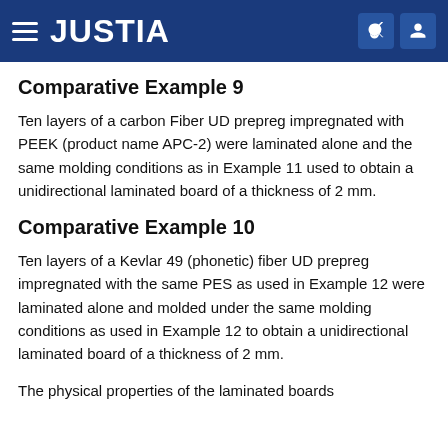JUSTIA
Comparative Example 9
Ten layers of a carbon Fiber UD prepreg impregnated with PEEK (product name APC-2) were laminated alone and the same molding conditions as in Example 11 used to obtain a unidirectional laminated board of a thickness of 2 mm.
Comparative Example 10
Ten layers of a Kevlar 49 (phonetic) fiber UD prepreg impregnated with the same PES as used in Example 12 were laminated alone and molded under the same molding conditions as used in Example 12 to obtain a unidirectional laminated board of a thickness of 2 mm.
The physical properties of the laminated boards obtained in Examples 9 through 12 and Comparative...